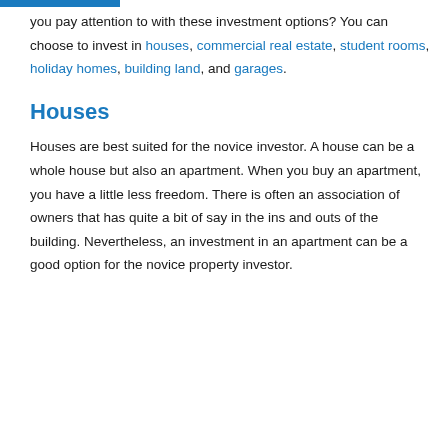you pay attention to with these investment options? You can choose to invest in houses, commercial real estate, student rooms, holiday homes, building land, and garages.
Houses
Houses are best suited for the novice investor. A house can be a whole house but also an apartment. When you buy an apartment, you have a little less freedom. There is often an association of owners that has quite a bit of say in the ins and outs of the building. Nevertheless, an investment in an apartment can be a good option for the novice property investor.